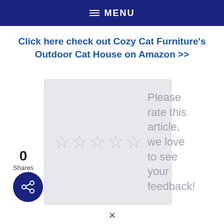≡ MENU
Click here check out Cozy Cat Furniture's Outdoor Cat House on Amazon >>
[Figure (other): Rating widget with five empty/outlined stars on a light gray background, with text 'Please rate this article, we love to see your feedback!']
0
Shares
[Figure (infographic): Dark navy blue circular share button with share/network icon in white]